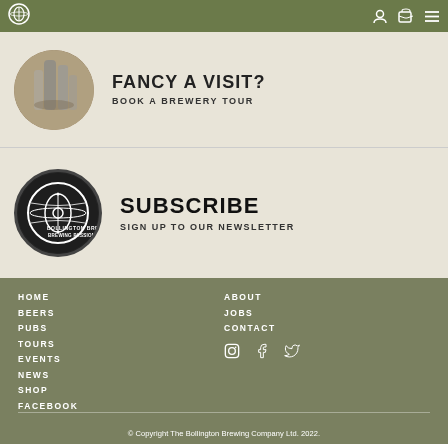Bollington Brewing Co navigation bar
FANCY A VISIT?
BOOK A BREWERY TOUR
SUBSCRIBE
SIGN UP TO OUR NEWSLETTER
HOME
BEERS
PUBS
TOURS
EVENTS
NEWS
SHOP
FACEBOOK
ABOUT
JOBS
CONTACT
© Copyright The Bollington Brewing Company Ltd. 2022.